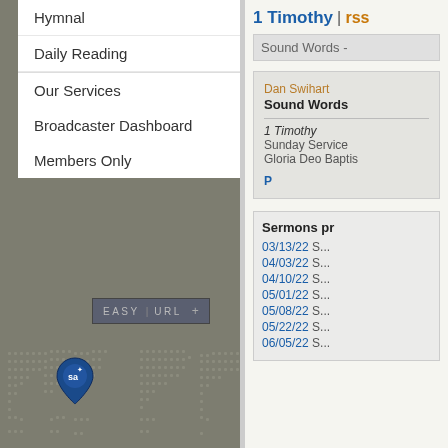Hymnal
Daily Reading
Our Services
Broadcaster Dashboard
Members Only
[Figure (screenshot): Easy URL button with + icon]
[Figure (map): World map dotted pattern with location pin marker (sa logo) on left side]
1 Timothy | rss
Sound Words -
Dan Swihart
Sound Words
1 Timothy
Sunday Service
Gloria Deo Baptis...
P...
Sermons pr
03/13/22  S...
04/03/22  S...
04/10/22  S...
05/01/22  S...
05/08/22  S...
05/22/22  S...
06/05/22  S...